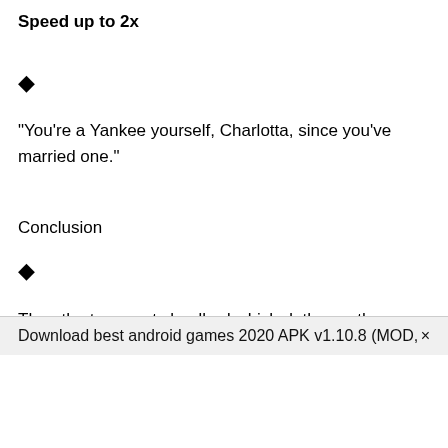Speed up to 2x
◆
"You're a Yankee yourself, Charlotta, since you've married one."
Conclusion
◆
Than the true gouty landlord which doth owe them.
Download best android games 2020 APK v1.10.8 (MOD,  ×